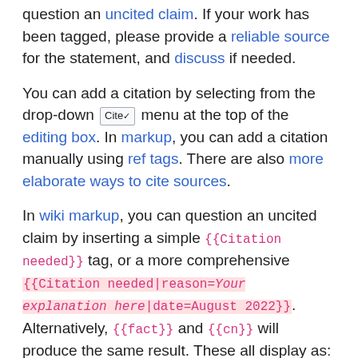question an uncited claim. If your work has been tagged, please provide a reliable source for the statement, and discuss if needed.
You can add a citation by selecting from the drop-down Cite menu at the top of the editing box. In markup, you can add a citation manually using ref tags. There are also more elaborate ways to cite sources.
In wiki markup, you can question an uncited claim by inserting a simple {{Citation needed}} tag, or a more comprehensive {{Citation needed|reason=Your explanation here|date=August 2022}}. Alternatively, {{fact}} and {{cn}} will produce the same result. These all display as: